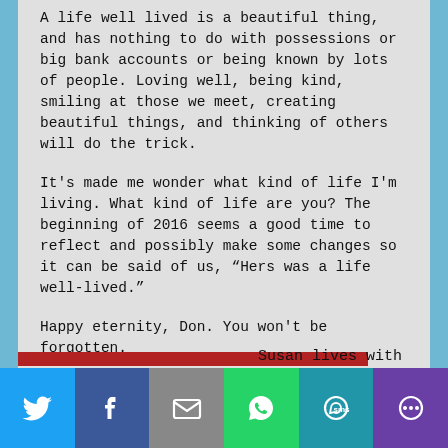A life well lived is a beautiful thing, and has nothing to do with possessions or big bank accounts or being known by lots of people. Loving well, being kind, smiling at those we meet, creating beautiful things, and thinking of others will do the trick.
It's made me wonder what kind of life I'm living. What kind of life are you? The beginning of 2016 seems a good time to reflect and possibly make some changes so it can be said of us, “Hers was a life well-lived.”
Happy eternity, Don. You won't be forgotten.
Susan lives with